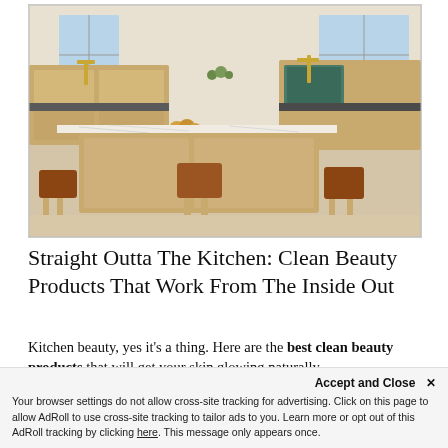[Figure (photo): A modern kitchen with a large marble-topped island, light wood cabinetry, leather bar stools, gold fixtures, and a farmhouse sink near bright windows.]
Straight Outta The Kitchen: Clean Beauty Products That Work From The Inside Out
Kitchen beauty, yes it's a thing. Here are the best clean beauty products that will get your skin glowing naturally...
1.27.20 | The Chalkboard Editorial Team , Photo credit: Tessa Neustadt
Accept and Close ✕
Your browser settings do not allow cross-site tracking for advertising. Click on this page to allow AdRoll to use cross-site tracking to tailor ads to you. Learn more or opt out of this AdRoll tracking by clicking here. This message only appears once.